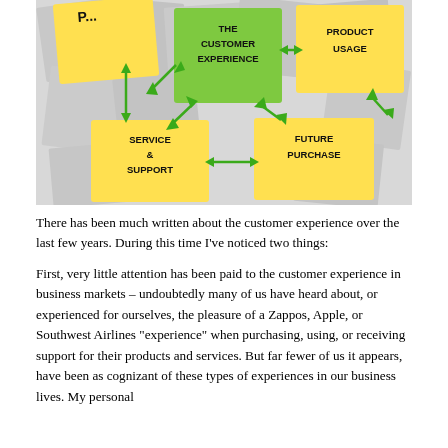[Figure (infographic): Sticky note infographic showing 'The Customer Experience' (green note, center) connected by green double-headed arrows to surrounding yellow sticky notes: 'Product Usage' (top right), 'Service & Support' (bottom left), 'Future Purchase' (bottom right), and other blank/partial notes, all arranged on a background of overlapping grey paper notes.]
There has been much written about the customer experience over the last few years. During this time I've noticed two things:
First, very little attention has been paid to the customer experience in business markets – undoubtedly many of us have heard about, or experienced for ourselves, the pleasure of a Zappos, Apple, or Southwest Airlines "experience" when purchasing, using, or receiving support for their products and services. But far fewer of us it appears, have been as cognizant of these types of experiences in our business lives. My personal